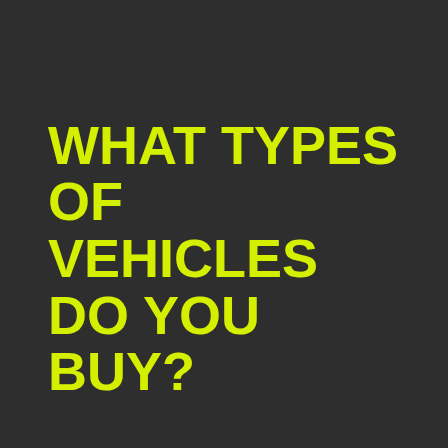WHAT TYPES OF VEHICLES DO YOU BUY?